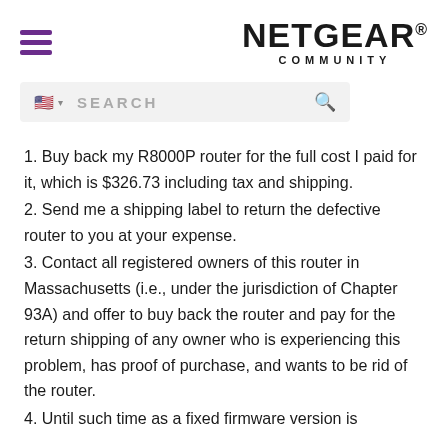NETGEAR COMMUNITY
1. Buy back my R8000P router for the full cost I paid for it, which is $326.73 including tax and shipping.
2. Send me a shipping label to return the defective router to you at your expense.
3. Contact all registered owners of this router in Massachusetts (i.e., under the jurisdiction of Chapter 93A) and offer to buy back the router and pay for the return shipping of any owner who is experiencing this problem, has proof of purchase, and wants to be rid of the router.
4. Until such time as a fixed firmware version is